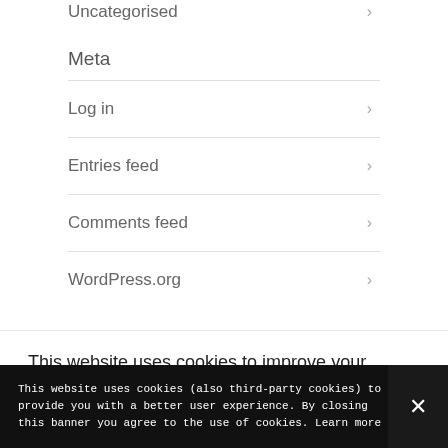Uncategorised
Meta
Log in
Entries feed
Comments feed
WordPress.org
This website uses cookies to improve your experience. We'll
This website uses cookies (also third-party cookies) to provide you with a better user experience. By closing this banner you agree to the use of cookies. Learn more